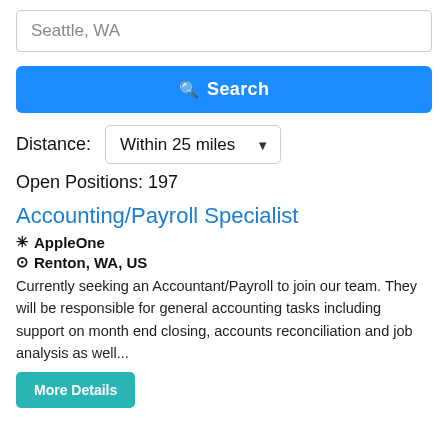Seattle, WA
Search
Distance: Within 25 miles
Open Positions: 197
Accounting/Payroll Specialist
AppleOne
Renton, WA, US
Currently seeking an Accountant/Payroll to join our team. They will be responsible for general accounting tasks including support on month end closing, accounts reconciliation and job analysis as well...
More Details